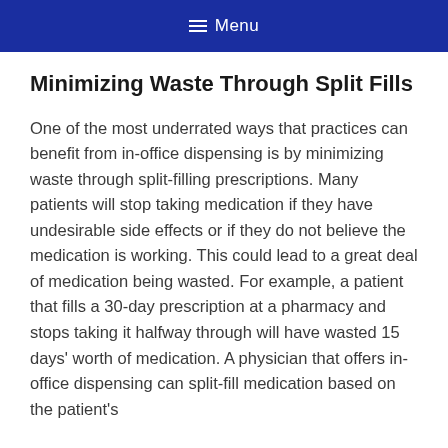Menu
Minimizing Waste Through Split Fills
One of the most underrated ways that practices can benefit from in-office dispensing is by minimizing waste through split-filling prescriptions. Many patients will stop taking medication if they have undesirable side effects or if they do not believe the medication is working. This could lead to a great deal of medication being wasted. For example, a patient that fills a 30-day prescription at a pharmacy and stops taking it halfway through will have wasted 15 days' worth of medication. A physician that offers in-office dispensing can split-fill medication based on the patient's